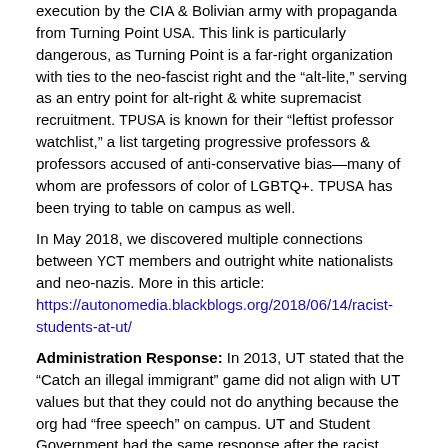execution by the CIA & Bolivian army with propaganda from Turning Point USA. This link is particularly dangerous, as Turning Point is a far-right organization with ties to the neo-fascist right and the “alt-lite,” serving as an entry point for alt-right & white supremacist recruitment. TPUSA is known for their “leftist professor watchlist,” a list targeting progressive professors & professors accused of anti-conservative bias—many of whom are professors of color of LGBTQ+. TPUSA has been trying to table on campus as well.
In May 2018, we discovered multiple connections between YCT members and outright white nationalists and neo-nazis. More in this article: https://autonomedia.blackblogs.org/2018/06/14/racist-students-at-ut/
Administration Response: In 2013, UT stated that the “Catch an illegal immigrant” game did not align with UT values but that they could not do anything because the org had “free speech” on campus. UT and Student Government had the same response after the racist bake sale. During debates over a resolution in Student Government to disband YCT (which failed), members of Student Government defended the organization and the action by claiming that even the KKK would have the right to organize on campus
Notable members:
Anthony Dolcefino